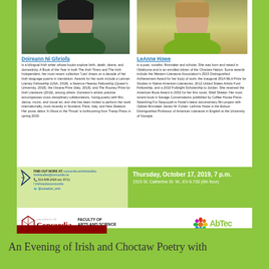[Figure (photo): Portrait photo of Doireann Ni Ghriofa in green clothing]
[Figure (photo): Portrait photo of LeAnne Howe in green/yellow clothing]
Doireann Ni Ghriofa
is a bilingual Irish writer whose books explore birth, death, desire, and domesticity. A Book of the Year in both The Irish Times and The Irish Independent, her most recent collection 'Lies' draws on a decade of her Irish language poems in translation. Awards for her work include a Lannan Literary Fellowship (USA, 2018), a Seamus Heaney Fellowship (Queen's University, 2018), the Ostana Prize (Italy, 2018), and The Rooney Prize for Irish Literature (2016), among others. Doireann's artistic practice encompasses cross-disciplinary collaborations, fusing poetry with film, dance, music, and visual art, and she has been invited to perform her work internationally, most recently in Scotland, Paris, Italy, and New Zealand. Her prose debut 'A Ghost in the Throat' is forthcoming from Tramp Press in spring 2020.
LeAnne Howe
is a poet, novelist, filmmaker and scholar. She was born and raised in Oklahoma and is an enrolled citizen of the Choctaw Nation. Some awards include the Western Literature Association's 2015 Distinguished Achievement Award for her body of work; the inaugural 2014 MLA Prize for Studies in Native American Literatures; 2012 United States Artists Ford Fellowship, and a 2010 Fulbright Scholarship to Jordan. She received the American Book Award in 2002 for her first novel, Shell Shaker. Her most recent book is Savage Conversations published by Coffee House Press. Searching For Sequoyah is Howe's latest documentary film project with Ojibwe filmmaker James M. Fortier. LeAnne Howe is the Eidson Distinguished Professor of American Literature in English at the University of Georgia.
FIND OUT MORE AT: concordia.ca/irishstudies irishstudies@concordia.ca 514-848-2424 ext. 8711 irishstudiosconcordia @canadian_irish
Thursday, October 17, 2019, 7 p.m.
1515 St. Catherine St. W., EV-6.720 (6th floor)
[Figure (logo): Concordia University logo with shield and text]
FACULTY OF ARTS AND SCIENCE
School of Irish Studies
[Figure (logo): ABTEC - Aboriginal Territories in Cyberspace logo]
An Evening of Irish and Choctaw Poetry with